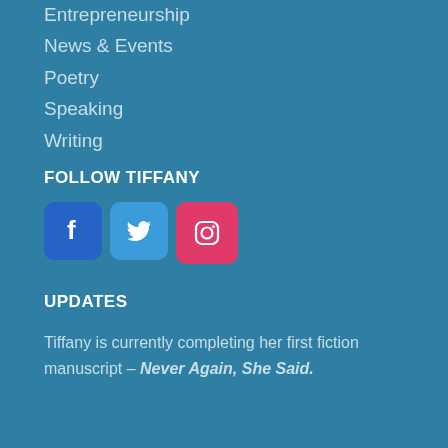Entrepreneurship
News & Events
Poetry
Speaking
Writing
FOLLOW TIFFANY
[Figure (logo): Three social media icons: Facebook (blue square with f), Twitter (blue square with bird), Instagram (pink/red square with camera outline)]
UPDATES
Tiffany is currently completing her first fiction manuscript – Never Again, She Said.